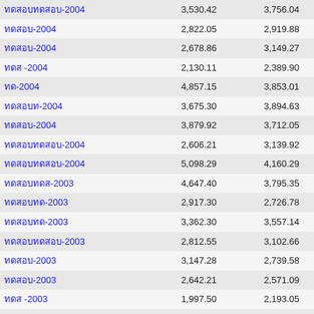| Name | Value1 | Value2 | Diff |
| --- | --- | --- | --- |
| ทดสอบทดสอบ-2004 | 3,530.42 | 3,756.04 | -225 |
| ทดสอบ-2004 | 2,822.05 | 2,919.88 | -97 |
| ทดสอบ-2004 | 2,678.86 | 3,149.27 | -470 |
| ทดส -2004 | 2,130.11 | 2,389.90 | -259 |
| ทด-2004 | 4,857.15 | 3,853.01 | 1,004 |
| ทดสอบท-2004 | 3,675.30 | 3,894.63 | -219 |
| ทดสอบ-2004 | 3,879.92 | 3,712.05 | 167 |
| ทดสอบทดสอบ-2004 | 2,606.21 | 3,139.92 | -533 |
| ทดสอบทดสอบ-2004 | 5,098.29 | 4,160.29 | 938 |
| ทดสอบทดส-2003 | 4,647.40 | 3,795.35 | 852 |
| ทดสอบทด-2003 | 2,917.30 | 2,726.78 | 190 |
| ทดสอบทด-2003 | 3,362.30 | 3,557.14 | -194 |
| ทดสอบทดสอบ-2003 | 2,812.55 | 3,102.66 | -290 |
| ทดสอบ-2003 | 3,147.28 | 2,739.58 | 407 |
| ทดสอบ-2003 | 2,642.21 | 2,571.09 | 71 |
| ทดส -2003 | 1,997.50 | 2,193.05 | -195 |
| ทด-2003 | 2,110.68 | 2,042.35 | 68 |
| ทดสอบท-2003 | 1,332.78 | 1,509.97 | -177 |
| ทดสอบ-2003 | 1,015.74 | 953.60 | 62 |
| ทดสอบทดส-2003 | 1,077.74 | 1,046.64 | 31 |
| ทดสอบทดส-2003 | 1,534.19 | 1,937.23 | -403 |
| ทดสอบทด-2002 | 1,412.36 | 1,409.93 | 2 |
| ทดสอบทด-2002 | 1,059.44 | 1,394.94 | -335 |